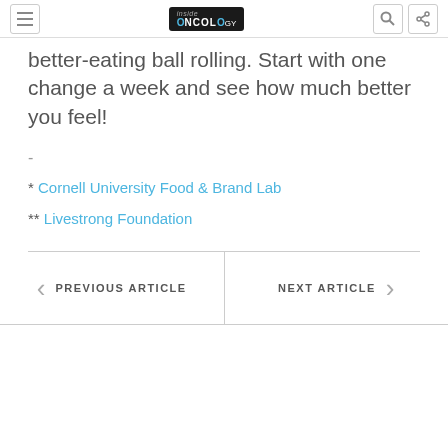inside ONCOLOGY
better-eating ball rolling. Start with one change a week and see how much better you feel!
-
* Cornell University Food & Brand Lab
** Livestrong Foundation
PREVIOUS ARTICLE
NEXT ARTICLE